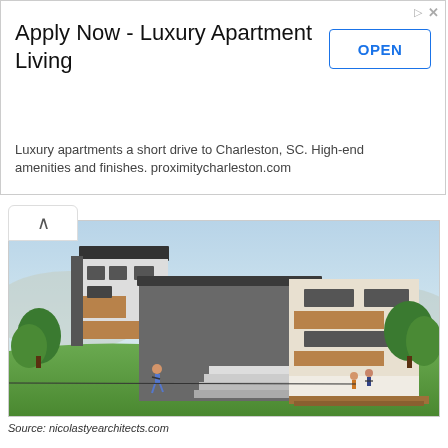Apply Now - Luxury Apartment Living
Luxury apartments a short drive to Charleston, SC. High-end amenities and finishes. proximitycharleston.com
[Figure (illustration): Architectural 3D rendering of two modern residential buildings on a hillside with trees, grass, and small figures of people in the foreground]
Source: nicolastyearchitects.com